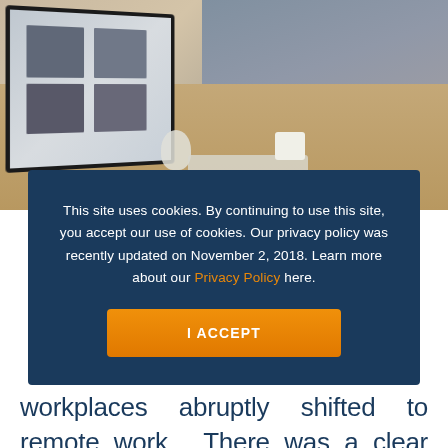[Figure (photo): Overhead view of business people working around a desk with documents, a coffee cup, keyboard and mouse; a monitor screen shows a video call with attendees]
This site uses cookies. By continuing to use this site, you accept our use of cookies. Our privacy policy was recently updated on November 2, 2018. Learn more about our Privacy Policy here.
I ACCEPT
workplaces abruptly shifted to remote work. There was a clear distinction between working in the office versus working from home, and it happened